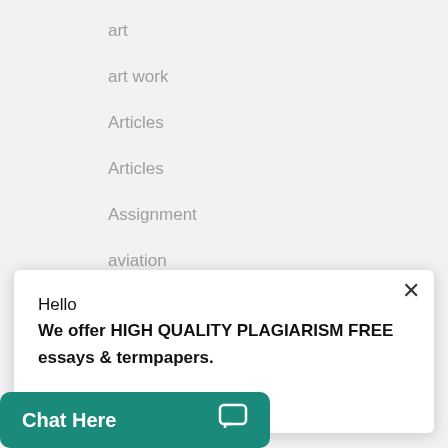art
art work
Articles
Articles
Assignment
aviation
Biology / Physiology
Hello
We offer HIGH QUALITY PLAGIARISM FREE essays & termpapers.

Chat…
Chat Here